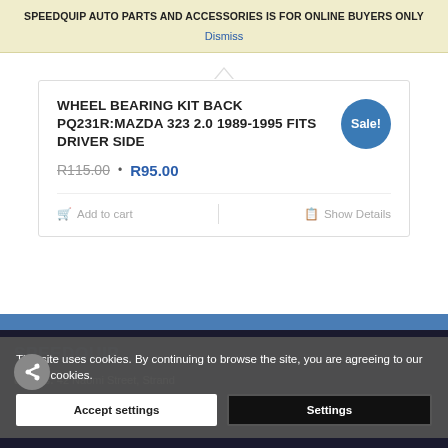SPEEDQUIP AUTO PARTS AND ACCESSORIES IS FOR ONLINE BUYERS ONLY
Dismiss
WHEEL BEARING KIT BACK PQ231R:MAZDA 323 2.0 1989-1995 FITS DRIVER SIDE
R115.00 • R95.00
Add to cart | Show Details
Sale!
SPEEDQUIP
Address: 42 Naomi Street, Strand
This site uses cookies. By continuing to browse the site, you are agreeing to our use of cookies.
Accept settings   Settings